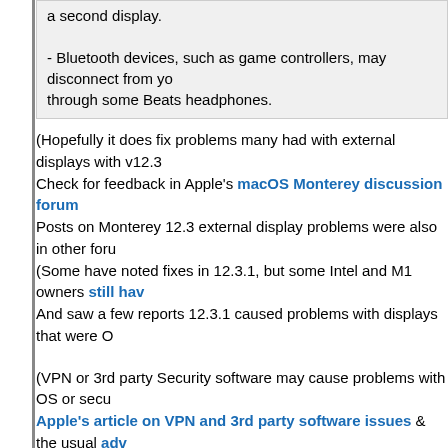a second display.
- Bluetooth devices, such as game controllers, may disconnect from yo... through some Beats headphones.
(Hopefully it does fix problems many had with external displays with v12.3... Check for feedback in Apple's macOS Monterey discussion forum Posts on Monterey 12.3 external display problems were also in other foru... (Some have noted fixes in 12.3.1, but some Intel and M1 owners still hav... And saw a few reports 12.3.1 caused problems with displays that were O...
(VPN or 3rd party Security software may cause problems with OS or secu... Apple's article on VPN and 3rd party software issues & the usual adv... Even though I don't use 3rd party addons, I install macOS updates from a...
iOS 15.4.1, iPadOS 15.4.1, tvOS 15.4.1, watchOS 8.5.1 Updates
About the security content of iOS 15.4.1 and iPadOS 15.4.1
- Fix for AppleAVD (CVE-2022-22675) that has reportedly been ac...
See About iOS 15.4.1 Update (bug fixes and security updates)
- Apple's iPhone discussion forum.
See About iPadOS 15.4.1 Update (bug fixes and security updates)...
- Apple's iPad discussion forum.
See About watchOS 8.5.1 Update
"Includes security updates and bug fixes for your Apple Watch."
- Apple's security updates page says "This update has no publishe..."
- Apple's Watch discussion forum.